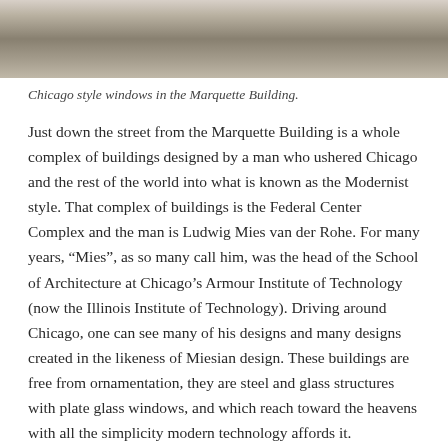[Figure (photo): Top portion of a street scene photo showing Chicago style windows in the Marquette Building, with cars and street visible.]
Chicago style windows in the Marquette Building.
Just down the street from the Marquette Building is a whole complex of buildings designed by a man who ushered Chicago and the rest of the world into what is known as the Modernist style. That complex of buildings is the Federal Center Complex and the man is Ludwig Mies van der Rohe. For many years, “Mies”, as so many call him, was the head of the School of Architecture at Chicago’s Armour Institute of Technology (now the Illinois Institute of Technology). Driving around Chicago, one can see many of his designs and many designs created in the likeness of Miesian design. These buildings are free from ornamentation, they are steel and glass structures with plate glass windows, and which reach toward the heavens with all the simplicity modern technology affords it.
This complex of buildings is located at 50 W. Adams Street, the same location as Alexander Calder’s Flamingo. This means that it is 1.6 miles from the hotel, or approximately 3200 steps.